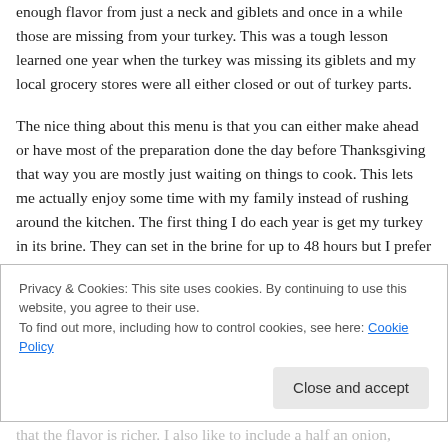enough flavor from just a neck and giblets and once in a while those are missing from your turkey. This was a tough lesson learned one year when the turkey was missing its giblets and my local grocery stores were all either closed or out of turkey parts.

The nice thing about this menu is that you can either make ahead or have most of the preparation done the day before Thanksgiving that way you are mostly just waiting on things to cook. This lets me actually enjoy some time with my family instead of rushing around the kitchen. The first thing I do each year is get my turkey in its brine. They can set in the brine for up to 48 hours but I prefer right around 24
Privacy & Cookies: This site uses cookies. By continuing to use this website, you agree to their use.
To find out more, including how to control cookies, see here: Cookie Policy
[Close and accept]
that the flavor is richer. I also like to include a half an onion,